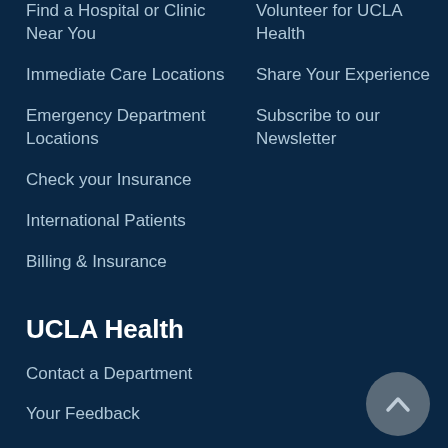Find a Hospital or Clinic Near You
Immediate Care Locations
Emergency Department Locations
Check your Insurance
International Patients
Billing & Insurance
Volunteer for UCLA Health
Share Your Experience
Subscribe to our Newsletter
UCLA Health
Contact a Department
Your Feedback
Contact Media Team
Browse FAQs